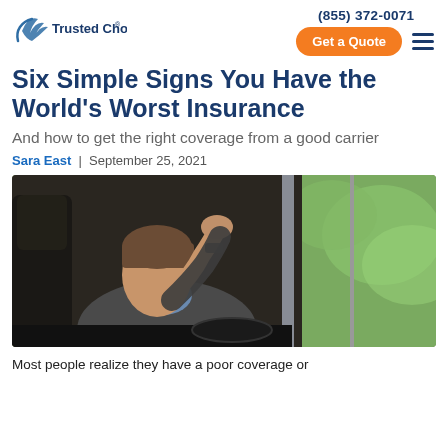Trusted Choice | (855) 372-0071 | Get a Quote
Six Simple Signs You Have the World's Worst Insurance
And how to get the right coverage from a good carrier
Sara East  |  September 25, 2021
[Figure (photo): Man sitting in a car, hand raised to his forehead in a stressed or worried pose, wearing a grey blazer and blue shirt, with green trees visible through the car window.]
Most people realize they have a poor coverage or